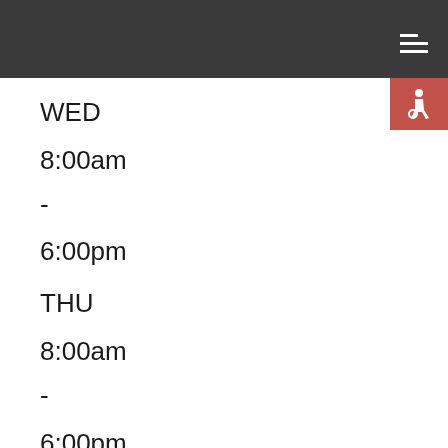Navigation header with hamburger menu
[Figure (infographic): Wheelchair accessibility icon in red/coral square]
WED
8:00am
-
6:00pm
THU
8:00am
-
6:00pm
FRI
8:00am
-